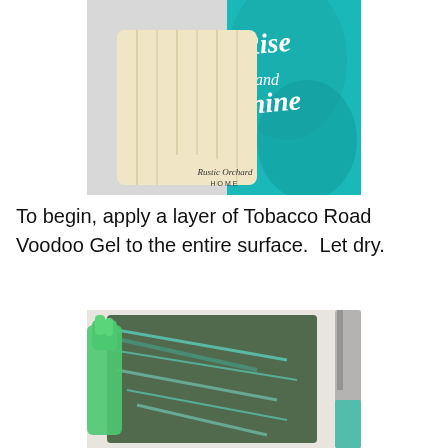[Figure (photo): A blank wooden paddle/board with a handle, lying on a grey surface next to a teal/turquoise decorative bag with script text 'Rise and Shine'. A watermark reads 'Rustic Orchard HOME'.]
To begin, apply a layer of Tobacco Road Voodoo Gel to the entire surface.  Let dry.
[Figure (photo): A wooden board/paddle that has been stained dark brown with teal/turquoise Voodoo Gel brushed across it in streaks. Teal latex gloves are visible holding the board, and a brush is seen on the right edge.]